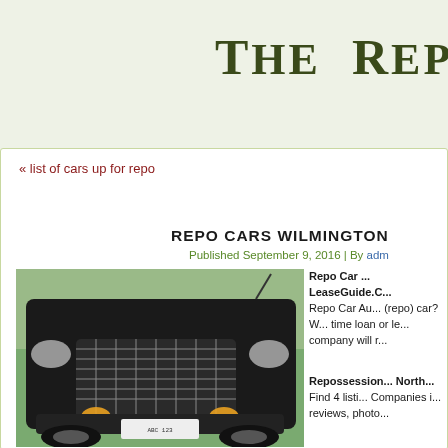The Reposs...
« list of cars up for repo
REPO CARS WILMINGTON...
Published September 9, 2016 | By adm...
[Figure (photo): Front view of a dark GMC truck/SUV with chrome grille and yellow fog lights, parked indoors with green background]
Repo Car ... LeaseGuide.C... Repo Car Au... (repo) car? W... time loan or le... company will r...
Repossession... North... Find 4 listi... Companies i... reviews, photo...